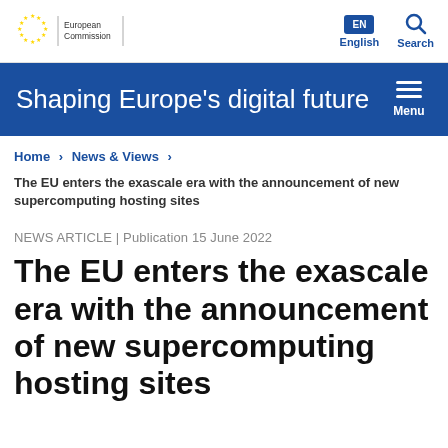European Commission | EN English | Search
Shaping Europe's digital future
Home > News & Views >
The EU enters the exascale era with the announcement of new supercomputing hosting sites
NEWS ARTICLE | Publication 15 June 2022
The EU enters the exascale era with the announcement of new supercomputing hosting sites